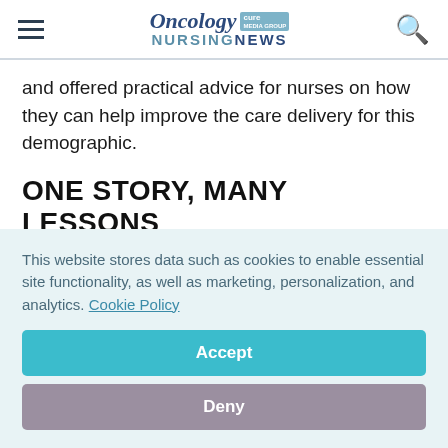Oncology NURSINGNEWS
and offered practical advice for nurses on how they can help improve the care delivery for this demographic.
ONE STORY, MANY LESSONS
Helfrich has worked with individuals with DD for
This website stores data such as cookies to enable essential site functionality, as well as marketing, personalization, and analytics. Cookie Policy
Accept
Deny